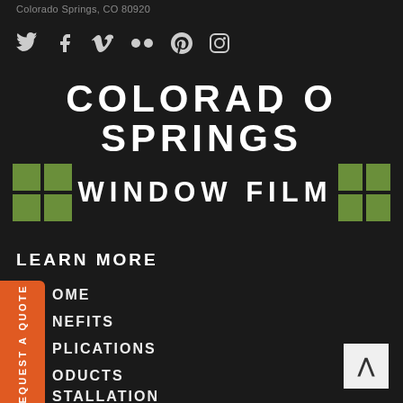Colorado Springs, CO 80920
[Figure (infographic): Social media icons row: Twitter, Facebook, Vimeo, Flickr, Pinterest, Instagram]
[Figure (logo): Colorado Springs Window Film logo with decorative lettering and green grid squares on both sides of WINDOW FILM text]
LEARN MORE
HOME
BENEFITS
APPLICATIONS
PRODUCTS
INSTALLATION
REQUEST A QUOTE